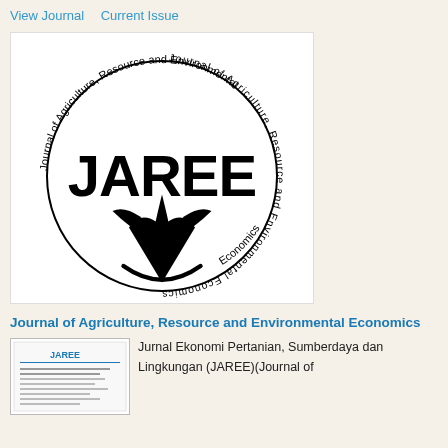View Journal   Current Issue
[Figure (logo): JAREE journal circular logo with text 'Journal of Agriculture, Resource and Environmental Economics' around a circle, with large bold JAREE lettering inside and a stylized plant/leaf emblem at the bottom]
Journal of Agriculture, Resource and Environmental Economics
[Figure (photo): Small thumbnail image of the JAREE journal cover page]
Jurnal Ekonomi Pertanian, Sumberdaya dan Lingkungan (JAREE)(Journal of